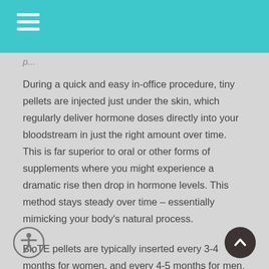During a quick and easy in-office procedure, tiny pellets are injected just under the skin, which regularly deliver hormone doses directly into your bloodstream in just the right amount over time. This is far superior to oral or other forms of supplements where you might experience a dramatic rise then drop in hormone levels. This method stays steady over time – essentially mimicking your body's natural process.
BioTE pellets are typically inserted every 3-4 months for women, and every 4-5 months for men, as needed. The treatment begins working in as quickly as a day, although it may take a few weeks for optimal effects.